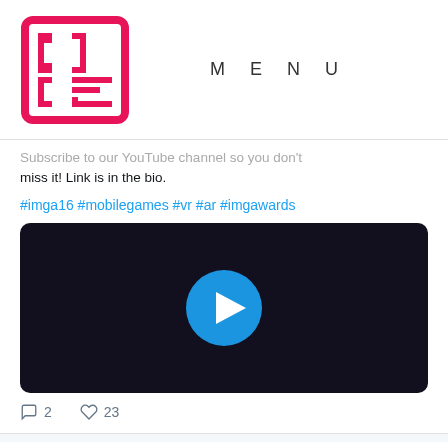MENU
[Figure (logo): IMGA logo — red square pixel art style grid logo]
Subscribe to our YouTube channel so you don't miss it! Link is in the bio.
#imga16 #mobilegames #vr #ar #imgawards
[Figure (screenshot): Dark video thumbnail with blue play button circle in center]
2 comments, 23 likes
IMGA @imgawards · Mar 2, 2020
16th International Mobile Gaming Awards Cancels Ceremony in San Francisco